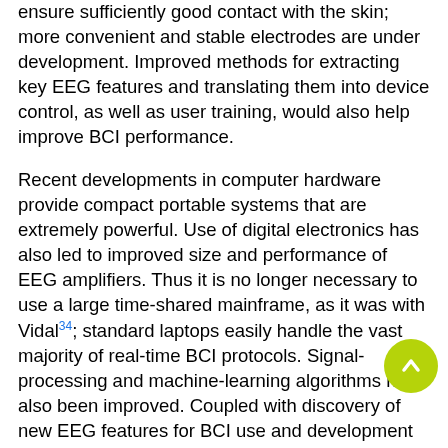ensure sufficiently good contact with the skin; more convenient and stable electrodes are under development. Improved methods for extracting key EEG features and translating them into device control, as well as user training, would also help improve BCI performance.
Recent developments in computer hardware provide compact portable systems that are extremely powerful. Use of digital electronics has also led to improved size and performance of EEG amplifiers. Thus it is no longer necessary to use a large time-shared mainframe, as it was with Vidal[34]; standard laptops easily handle the vast majority of real-time BCI protocols. Signal-processing and machine-learning algorithms have also been improved. Coupled with discovery of new EEG features for BCI use and development of new paradigms for user training, such improvements are gradually increasing the speed and reliability of BCI communication and control, developments facilitated by the BCI2000 software platform.[25]